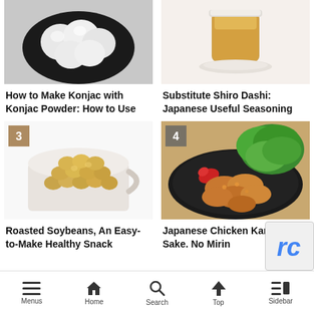[Figure (photo): White konjac pieces on a black plate]
How to Make Konjac with Konjac Powder: How to Use
[Figure (photo): Glass of tea or dashi on white background]
Substitute Shiro Dashi: Japanese Useful Seasoning
[Figure (photo): Roasted soybeans in a white cup, numbered 3]
Roasted Soybeans, An Easy-to-Make Healthy Snack
[Figure (photo): Japanese chicken karaage on black plate with lettuce and red pepper, numbered 4]
Japanese Chicken Karaage, No Sake. No Mirin
Menus  Home  Search  Top  Sidebar